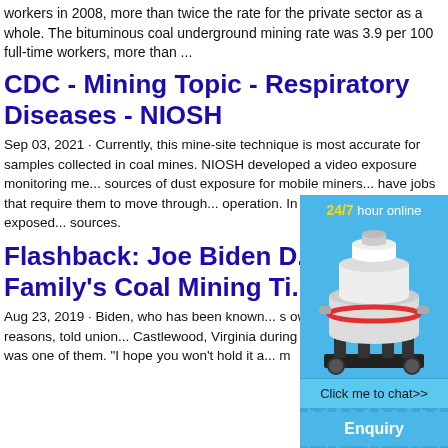workers in 2008, more than twice the rate for the private sector as a whole. The bituminous coal underground mining rate was 3.9 per 100 full-time workers, more than ...
CDC - Mining Topic - Respiratory Diseases - NIOSH
Sep 03, 2021 · Currently, this mine-site technique is most accurate for samples collected in coal mines. NIOSH developed a video exposure monitoring me... sources of dust exposure for mobile miners... have jobs that require them to move through... operation. In doing so, they can be exposed... sources.
Flashback: Joe Biden D... Family's Coal Mining Ti...
Aug 23, 2019 · Biden, who has been known... s own history for political reasons, told union... Castlewood, Virginia during the 2008 presi... ne was one of them. "I hope you won't hold it a... m
[Figure (infographic): Advertisement overlay showing a mining/crushing machine with '24/7 hour online' text in gold, a 'Click me to chat>>' button, 'Enquiry' section, and 'limingjlmofen' text on a light blue background.]